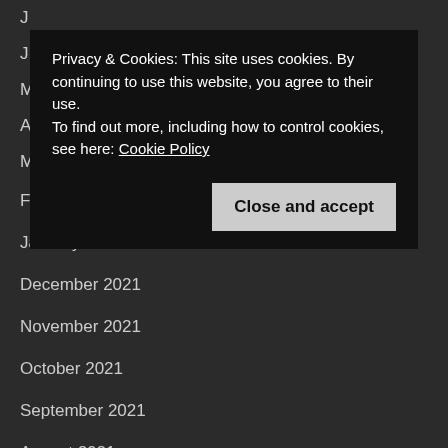Privacy & Cookies: This site uses cookies. By continuing to use this website, you agree to their use. To find out more, including how to control cookies, see here: Cookie Policy
February 2022
January 2022
December 2021
November 2021
October 2021
September 2021
August 2021
July 2021
June 2021
May 2021
April 2021
March 2021